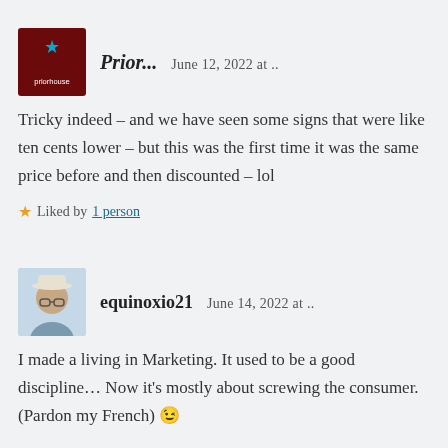Prior...   June 12, 2022 at ..
Tricky indeed – and we have seen some signs that were like ten cents lower – but this was the first time it was the same price before and then discounted – lol
Liked by 1 person
equinoxio21   June 14, 2022 at ..
I made a living in Marketing. It used to be a good discipline… Now it's mostly about screwing the consumer. (Pardon my French) 😉